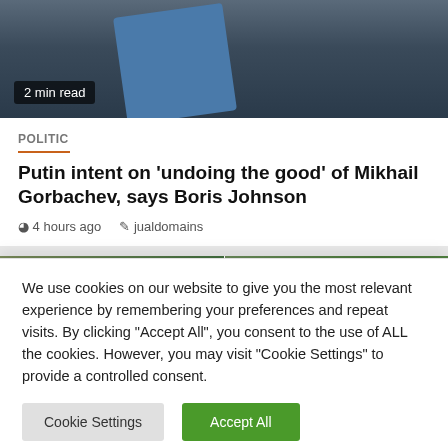[Figure (photo): Photo of a man in a dark suit with a blue tie, blurred background]
2 min read
POLITIC
Putin intent on 'undoing the good' of Mikhail Gorbachev, says Boris Johnson
4 hours ago   jualdomains
[Figure (photo): Two photos side by side: left shows a man smiling outdoors, right shows a woman with red/auburn hair outdoors]
We use cookies on our website to give you the most relevant experience by remembering your preferences and repeat visits. By clicking "Accept All", you consent to the use of ALL the cookies. However, you may visit "Cookie Settings" to provide a controlled consent.